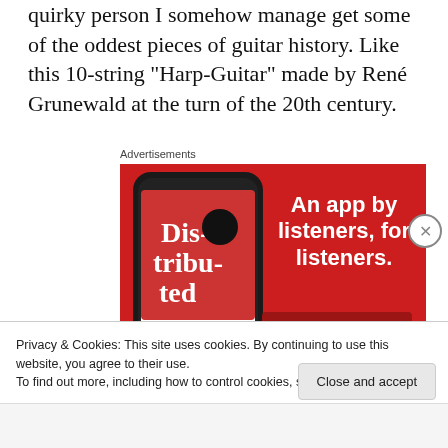quirky person I somehow manage get some of the oddest pieces of guitar history. Like this 10-string “Harp-Guitar” made by René Grunewald at the turn of the 20th century.
Advertisements
[Figure (other): Advertisement banner with red background showing a smartphone displaying a podcast app called 'Dis-tri-bu-ted', with text 'An app by listeners, for listeners.' and a 'Download now' button.]
Privacy & Cookies: This site uses cookies. By continuing to use this website, you agree to their use.
To find out more, including how to control cookies, see here: Cookie Policy
Close and accept